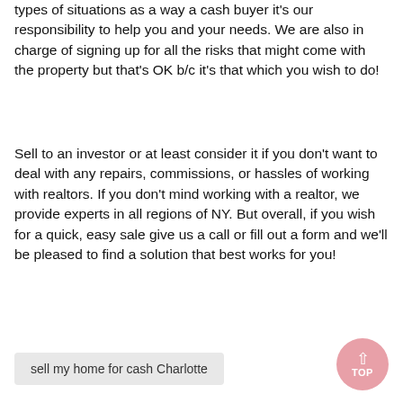types of situations as a way a cash buyer it's our responsibility to help you and your needs. We are also in charge of signing up for all the risks that might come with the property but that's OK b/c it's that which you wish to do!
Sell to an investor or at least consider it if you don't want to deal with any repairs, commissions, or hassles of working with realtors. If you don't mind working with a realtor, we provide experts in all regions of NY. But overall, if you wish for a quick, easy sale give us a call or fill out a form and we'll be pleased to find a solution that best works for you!
sell my home for cash Charlotte